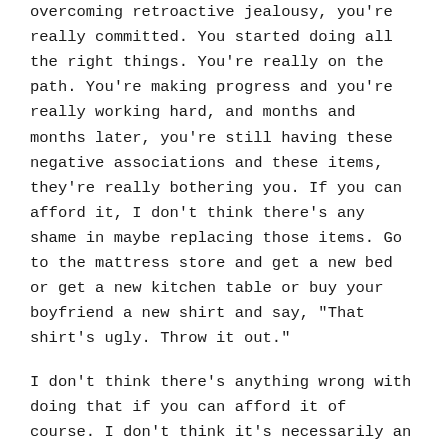overcoming retroactive jealousy, you're really committed. You started doing all the right things. You're really on the path. You're making progress and you're really working hard, and months and months later, you're still having these negative associations and these items, they're really bothering you. If you can afford it, I don't think there's any shame in maybe replacing those items. Go to the mattress store and get a new bed or get a new kitchen table or buy your boyfriend a new shirt and say, "That shirt's ugly. Throw it out."
I don't think there's anything wrong with doing that if you can afford it of course. I don't think it's necessarily an admission of defeat. Sometimes it's nice to kind of throw some things out and start